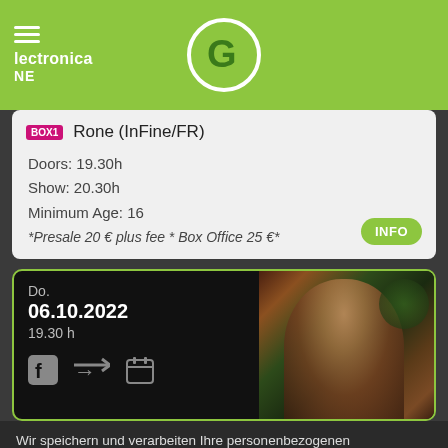Electronica — NE (hamburger menu + G logo)
BOX1 Rone (InFine/FR)
Doors: 19.30h
Show: 20.30h
Minimum Age: 16
*Presale 20 € plus fee * Box Office 25 €*
Do.
06.10.2022
19.30 h
Wir speichern und verarbeiten Ihre personenbezogenen Informationen für folgende Zwecke: Besucher-Statistiken, für den Betrieb der Webseite.
Ablehnen | OK | Mehr erfahren...